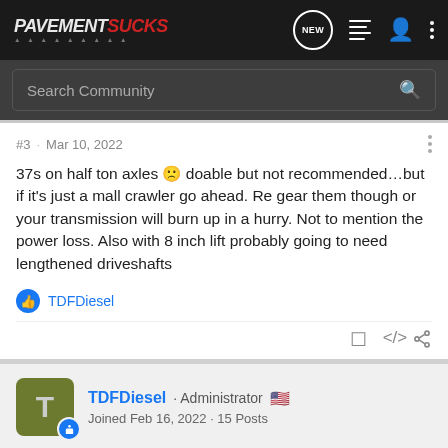PavementSucks - Navigation bar with logo, search, new, list, user, and more icons
Search Community
#3 · Mar 10, 2022
37s on half ton axles 🙁 doable but not recommended…but if it's just a mall crawler go ahead. Re gear them though or your transmission will burn up in a hurry. Not to mention the power loss. Also with 8 inch lift probably going to need lengthened driveshafts
TDFDiesel (liked this post)
TDFDiesel · Administrator 🇺🇸 Joined Feb 16, 2022 · 15 Posts